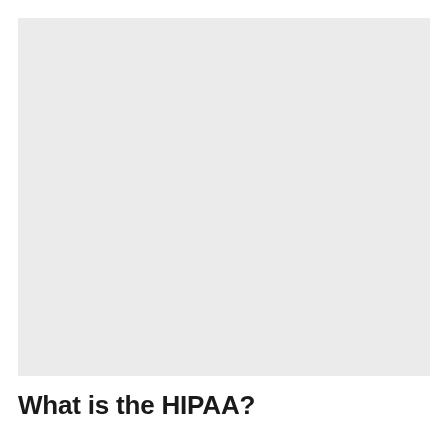[Figure (other): A large light gray blank/placeholder image area]
What is the HIPAA?